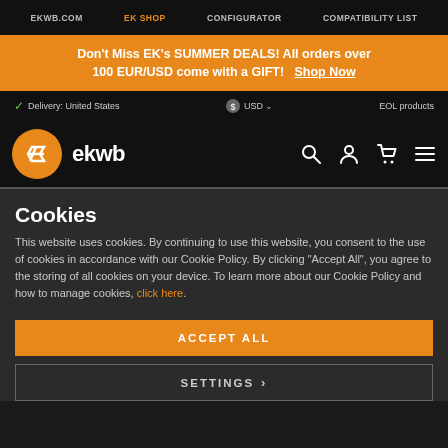EKWB.COM  EK SHOP  CONFIGURATOR  COMPATIBILITY LIST
Don't Miss EK's SUMMER DEALS! All orders over 100 EUR/USD come with a GIFT!  Shop Now
✓ Delivery: United States  $ USD  EOL products
[Figure (logo): EKWB logo: orange circle with stylized EK arrow icon followed by 'ekwb' text in white, with search, user, cart, and menu icons on the right]
Cookies
This website uses cookies. By continuing to use this website, you consent to the use of cookies in accordance with our Cookie Policy. By clicking "Accept All", you agree to the storing of all cookies on your device. To learn more about our Cookie Policy and how to manage cookies, click here.
ACCEPT ALL
SETTINGS >